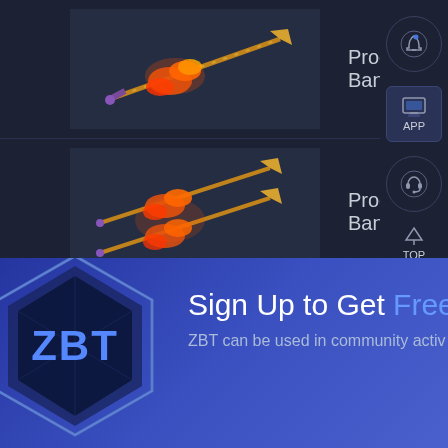[Figure (screenshot): Game UI screenshot showing three item rows each labeled Progenitor's Bane with weapon images (flaming trident/spear), right sidebar with notification bell, APP button, headset icon, and TOP arrow button, plus ZBT logo banner at bottom with text 'Sign Up to Get Free G' and 'ZBT can be used in community activ']
Progenitor's Bane
Progenitor's Bane
Progenitor's Bane
Sign Up to Get Free G
ZBT can be used in community activ